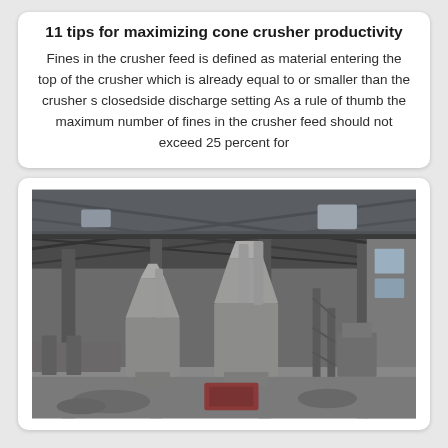11 tips for maximizing cone crusher productivity
Fines in the crusher feed is defined as material entering the top of the crusher which is already equal to or smaller than the crusher s closedside discharge setting As a rule of thumb the maximum number of fines in the crusher feed should not exceed 25 percent for
[Figure (photo): Interior of an industrial cone crusher facility showing large conical crusher machines and conveyor equipment inside a large steel-roofed warehouse building, with debris on the floor.]